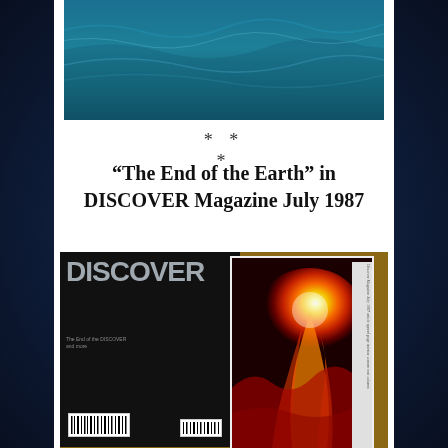[Figure (photo): Ocean/water surface painting with blue-green waves, cropped at top of page]
* * *
“The End of the Earth” in DISCOVER Magazine July 1987
[Figure (photo): Photograph of DISCOVER Magazine July 1987 issue showing back cover (black with DISCOVER logo in grey) on left and an interior spread showing a fiery volcanic/solar image on right, both placed on a wooden surface]